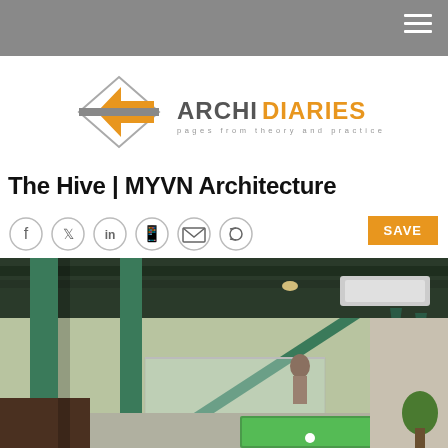[Figure (logo): ArchiDiaries logo with diamond/arrow geometric mark and text 'ARCHIDIARIES pages from theory and practice']
The Hive | MYVN Architecture
[Figure (infographic): Social media share icons: Facebook, Twitter, LinkedIn, WhatsApp, Email, Share]
[Figure (photo): Interior photo of The Hive building showing green steel columns, open staircase with glass railing, a person walking, billiard/pool table with green felt in foreground, industrial-style ceiling with exposed ducts and pendant lights]